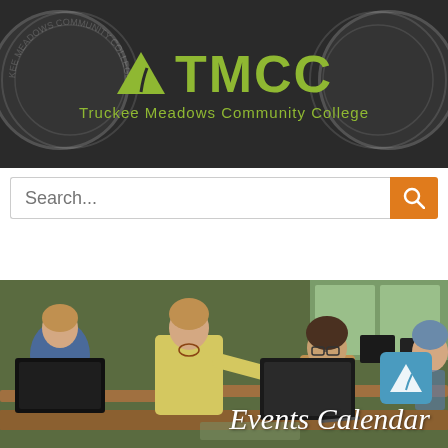[Figure (logo): TMCC Truckee Meadows Community College logo with mountain/road triangle icon in olive green on dark background, with circular seal watermarks on left and right]
[Figure (screenshot): Search bar with placeholder text 'Search...' and orange search button with magnifying glass icon]
Menu
[Figure (photo): Classroom scene showing an instructor in yellow blouse leaning over to help a female student with glasses at a computer; other students visible in background at computer workstations]
Events Calendar